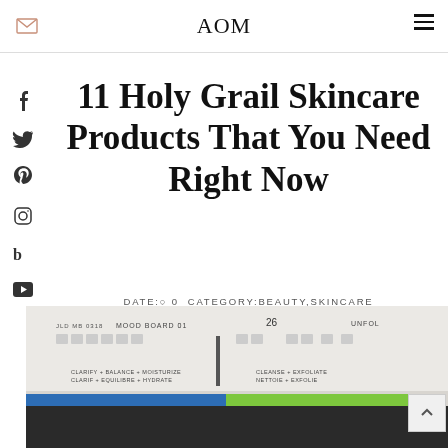AOM
11 Holy Grail Skincare Products That You Need Right Now
DATE: 0 CATEGORY:BEAUTY,SKINCARE
[Figure (photo): Product mood board with skincare items labeled MOOD BOARD 01, showing text CLARIFY + BALANCE + MOISTURIZE, CLARIFY + EQUILIBRE + HYDRATE, CLEANSE + EXFOLIATE, NETTOIE + EXFOLIE]